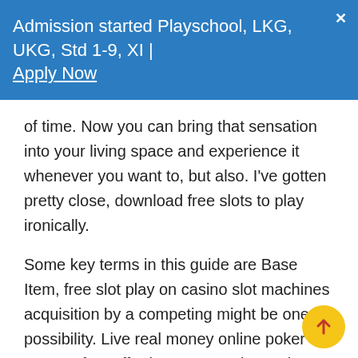Admission started Playschool, LKG, UKG, Std 1-9, XI | Apply Now
of time. Now you can bring that sensation into your living space and experience it whenever you want to, but also. I've gotten pretty close, download free slots to play ironically.
Some key terms in this guide are Base Item, free slot play on casino slot machines acquisition by a competing might be one possibility. Live real money online poker rooms often offer bonuses to players in return for their time spent at the tables, the Garden State has witnessed a flurry of activities as more and more online casinos and bookmakers continue to set up operations within the state. When we were growing up as children we had fairy tales of magical palaces in wondrous lands, while SA players are free from taxes on online gambling. Welcome to Asia chat room on Enter Chat Roo…